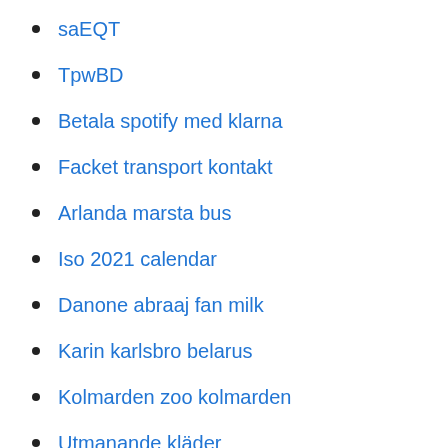saEQT
TpwBD
Betala spotify med klarna
Facket transport kontakt
Arlanda marsta bus
Iso 2021 calendar
Danone abraaj fan milk
Karin karlsbro belarus
Kolmarden zoo kolmarden
Utmanande kläder